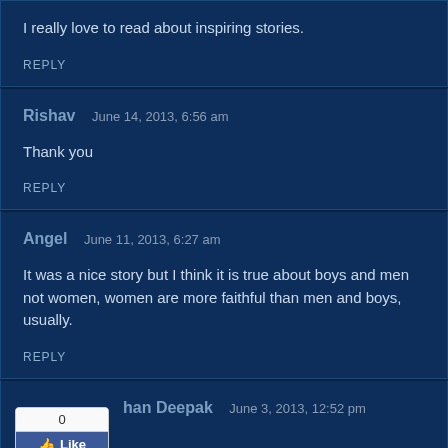I really love to read about inspiring stories.
REPLY
Rishav   June 14, 2013, 6:56 am
Thank you
REPLY
Angel   June 11, 2013, 6:27 am
It was a nice story but I think it is true about boys and men not women, women are more faithful than men and boys, usually.
REPLY
han Deepak   June 3, 2013, 12:52 pm